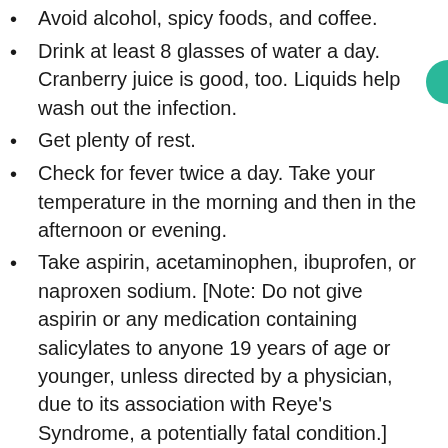Avoid alcohol, spicy foods, and coffee.
Drink at least 8 glasses of water a day. Cranberry juice is good, too. Liquids help wash out the infection.
Get plenty of rest.
Check for fever twice a day. Take your temperature in the morning and then in the afternoon or evening.
Take aspirin, acetaminophen, ibuprofen, or naproxen sodium. [Note: Do not give aspirin or any medication containing salicylates to anyone 19 years of age or younger, unless directed by a physician, due to its association with Reye's Syndrome, a potentially fatal condition.]
Go to the bathroom as soon as you feel the need. Empty your bladder completely, every time you pass urine.